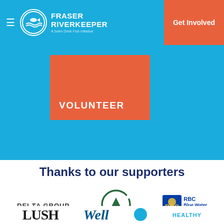Fraser Riverkeeper — Get Involved
[Figure (logo): Fraser Riverkeeper logo with circular fish/wave emblem and brand name, on blue navigation bar. Get Involved orange button on right.]
[Figure (screenshot): Blue background section with orange VOLUNTEER card/button]
Thanks to our supporters
[Figure (logo): Three supporter logos: DELTA GROUP, sitka foundation (green tree circle), RBC Blue Water Project]
[Figure (logo): Partial logos at bottom: LUSH, Well (blue italic), HEALTHY (partial, with circular logo)]